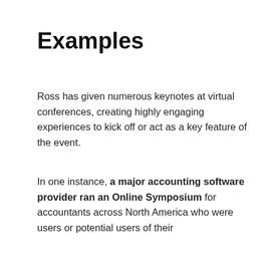Examples
Ross has given numerous keynotes at virtual conferences, creating highly engaging experiences to kick off or act as a key feature of the event.
In one instance, a major accounting software provider ran an Online Symposium for accountants across North America who were users or potential users of their
This website or its third-party tools use cookies to improve user experience and track affiliate sales. To learn more about why we need to use cookies, please refer to the Privacy Policy.
By clicking the agree button or continuing to browse through the website, you agree to the use of cookies.
Accept
Privacy Policy